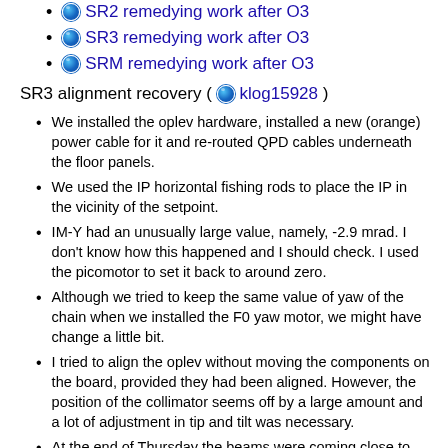SR2 remedying work after O3
SR3 remedying work after O3
SRM remedying work after O3
SR3 alignment recovery ( klog15928 )
We installed the oplev hardware, installed a new (orange) power cable for it and re-routed QPD cables underneath the floor panels.
We used the IP horizontal fishing rods to place the IP in the vicinity of the setpoint.
IM-Y had an unusually large value, namely, -2.9 mrad. I don't know how this happened and I should check. I used the picomotor to set it back to around zero.
Although we tried to keep the same value of yaw of the chain when we installed the F0 yaw motor, we might have change a little bit.
I tried to align the oplev without moving the components on the board, provided they had been aligned. However, the position of the collimator seems off by a large amount and a lot of adjustment in tip and tilt was necessary.
At the end of Thursday the beams were coming close to the QPDs but I think I need to move the position of the collimator a little bit in x or y.